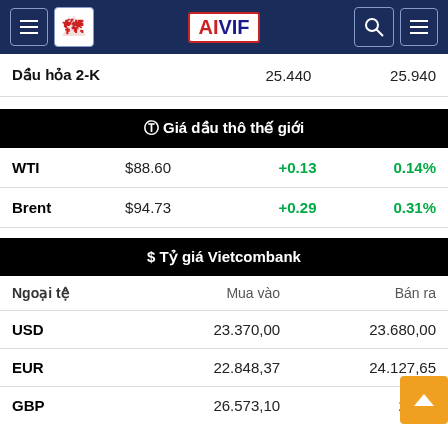AIVIF navigation header
|  |  |  |
| --- | --- | --- |
| Dầu hỏa 2-K | 25.440 | 25.940 |
⊕ Giá dầu thô thế giới
|  |  |  |  |
| --- | --- | --- | --- |
| WTI | $88.60 | +0.13 | 0.14% |
| Brent | $94.73 | +0.29 | 0.31% |
$ Tỷ giá Vietcombank
| Ngoại tệ | Mua vào | Bán ra |
| --- | --- | --- |
| USD | 23.370,00 | 23.680,00 |
| EUR | 22.848,37 | 24.127,65 |
| GBP | 26.573,10 | 27.70… |